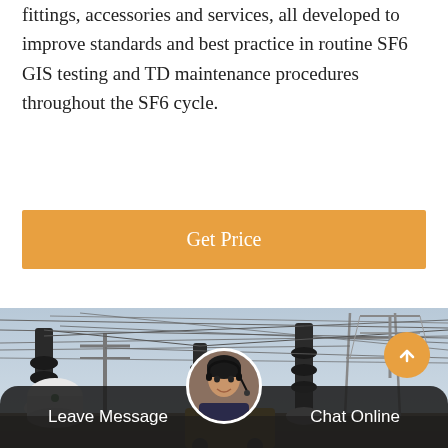fittings, accessories and services, all developed to improve standards and best practice in routine SF6 GIS testing and TD maintenance procedures throughout the SF6 cycle.
Get Price
[Figure (photo): Outdoor electrical substation with high-voltage insulators, transmission towers, and power lines against a sky background. A yellow crane/vehicle is visible in the lower center.]
Leave Message
Chat Online